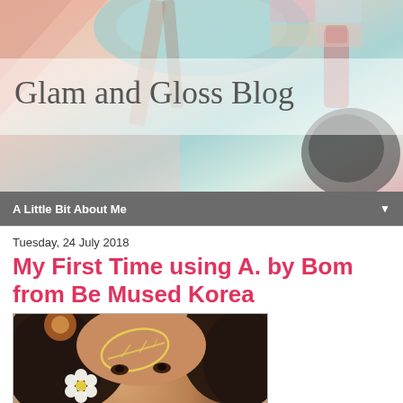[Figure (photo): Blog header banner showing cosmetic makeup products (eyeshadow palettes, brushes, lipstick) in pastel pink, teal, and peach tones]
Glam and Gloss Blog
A Little Bit About Me
Tuesday, 24 July 2018
My First Time using A. by Bom from Be Mused Korea
[Figure (photo): Selfie of a woman with dark braided hair and a white flower behind her ear, with a glowing leaf filter overlay on her forehead]